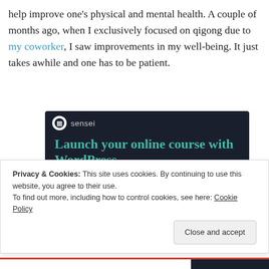help improve one's physical and mental health. A couple of months ago, when I exclusively focused on qigong due to my coworker, I saw improvements in my well-being. It just takes awhile and one has to be patient.
[Figure (screenshot): Advertisement banner for Sensei plugin with dark background. Shows the Sensei logo (circle with tree icon) and brand name, headline 'Launch your online course with WordPress' in teal, and a teal 'Learn More' button.]
Privacy & Cookies: This site uses cookies. By continuing to use this website, you agree to their use.
To find out more, including how to control cookies, see here: Cookie Policy
Close and accept